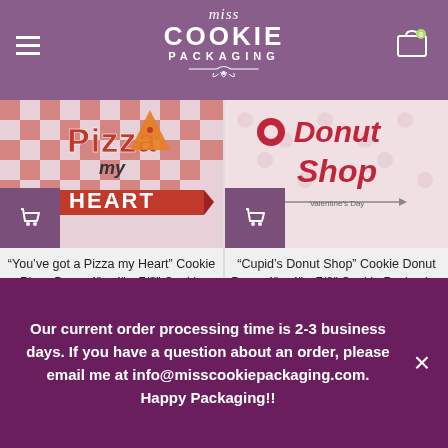Miss Cookie Packaging
[Figure (photo): Product image: You've got a Pizza my Heart Cookie Pizza Box with red and white checkered design and pizza slice graphic]
“You’ve got a Pizza my Heart” Cookie Pizza Box – 4″ x 4″ x 7/8″ Cookie Packaging Box
[Figure (photo): Product image: Cupid's Donut Shop Cookie Donut Box with pink design and donut graphic]
“Cupid’s Donut Shop” Cookie Donut Box – 4″ x 4″ x 7/8″ Cookie Packaging Box
Our current order processing time is 2-3 business days. If you have a question about an order, please email me at info@misscookiepackaging.com. Happy Packaging!!